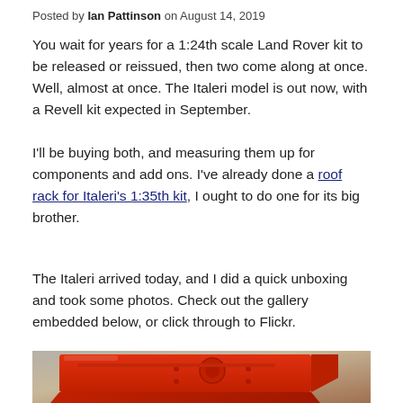Posted by Ian Pattinson on August 14, 2019
You wait for years for a 1:24th scale Land Rover kit to be released or reissued, then two come along at once. Well, almost at once. The Italeri model is out now, with a Revell kit expected in September.
I'll be buying both, and measuring them up for components and add ons. I've already done a roof rack for Italeri's 1:35th kit, I ought to do one for its big brother.
The Italeri arrived today, and I did a quick unboxing and took some photos. Check out the gallery embedded below, or click through to Flickr.
[Figure (photo): Close-up photo of red plastic model kit parts on a brown surface, showing detailed molded components of a Land Rover model.]